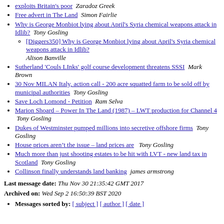exploits Britain's poor  Zaradoz Greek
Free advert in The Land  Simon Fairlie
Why is George Monbiot lying about April's Syria chemical weapons attack in Idlib?  Tony Gosling
[Diggers350] Why is George Monbiot lying about April's Syria chemical weapons attack in Idlib?  Alison Banville
Sutherland 'Couls LInks' golf course development threatens SSSI  Mark Brown
30 Nov MILAN Italy, action call - 200 acre squatted farm to be sold off by municipal authorities  Tony Gosling
Save Loch Lomond - Petition  Ram Selva
Marion Shoard – Power In The Land (1987) – LWT production for Channel 4  Tony Gosling
Dukes of Westminster pumped millions into secretive offshore firms  Tony Gosling
House prices aren't the issue – land prices are  Tony Gosling
Much more than just shooting estates to be hit with LVT - new land tax in Scotland  Tony Gosling
Collinson finally understands land banking  james armstrong
Last message date: Thu Nov 30 21:35:42 GMT 2017
Archived on: Wed Sep 2 16:50:39 BST 2020
Messages sorted by: [ subject ] [ author ] [ date ]